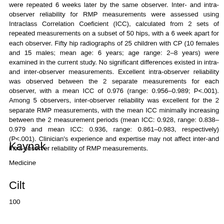were repeated 6 weeks later by the same observer. Inter- and intra-observer reliability for RMP measurements were assessed using Intraclass Correlation Coeficient (ICC), calculated from 2 sets of repeated measurements on a subset of 50 hips, with a 6 week apart for each observer. Fifty hip radiographs of 25 children with CP (10 females and 15 males; mean age: 6 years; age range: 2–8 years) were examined in the current study. No significant differences existed in intra- and inter-observer measurements. Excellent intra-observer reliability was observed between the 2 separate measurements for each observer, with a mean ICC of 0.976 (range: 0.956–0.989; P<.001). Among 5 observers, inter-observer reliability was excellent for the 2 separate RMP measurements, with the mean ICC minimally increasing between the 2 measurement periods (mean ICC: 0.928, range: 0.838–0.979 and mean ICC: 0.936, range: 0.861–0.983, respectively) (P<.001). Clinician's experience and expertise may not affect inter-and intra-observer reliability of RMP measurements.
Kaynak
Medicine
Cilt
100